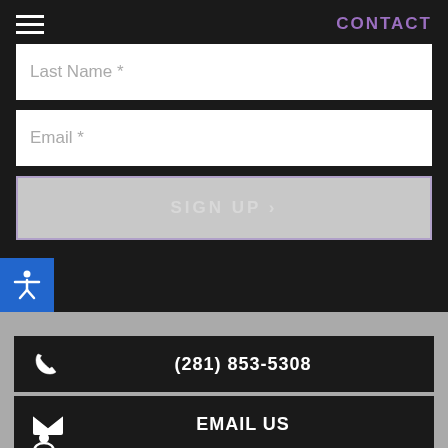CONTACT
Last Name *
Email *
SIGN UP >
[Figure (illustration): Accessibility icon (person with arms extended) on a blue button]
(281) 853-5308
EMAIL US